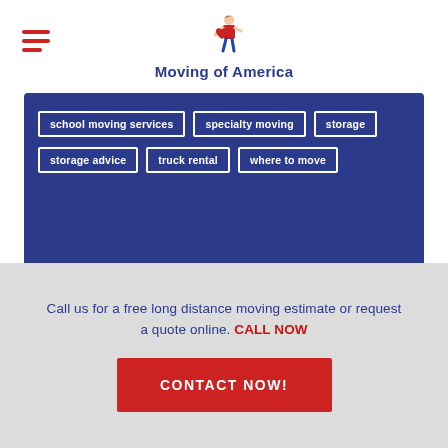[Figure (logo): Moving of America logo with cartoon mover figure and text 'Moving of America' in dark blue]
school moving services
specialty moving
storage
storage advice
truck rental
where to move
Call us for a free long distance moving estimate or request a quote online. CALL NOW
CONTACT NOW!